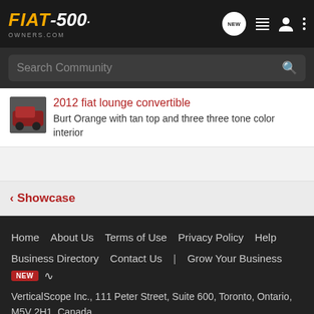FIAT-500· OWNERS.COM
Search Community
2012 fiat lounge convertible
Burt Orange with tan top and three three tone color interior
< Showcase
Home   About Us   Terms of Use   Privacy Policy   Help   Business Directory   Contact Us   |   Grow Your Business   NEW   RSS   VerticalScope Inc., 111 Peter Street, Suite 600, Toronto, Ontario, M5V 2H1, Canada   The Fora platform includes forum software by XenForo